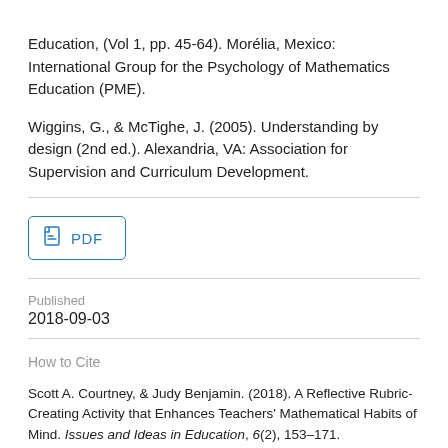Education, (Vol 1, pp. 45-64). Morélia, Mexico: International Group for the Psychology of Mathematics Education (PME).
Wiggins, G., & McTighe, J. (2005). Understanding by design (2nd ed.). Alexandria, VA: Association for Supervision and Curriculum Development.
PDF
Published
2018-09-03
How to Cite
Scott A. Courtney, & Judy Benjamin. (2018). A Reflective Rubric-Creating Activity that Enhances Teachers' Mathematical Habits of Mind. Issues and Ideas in Education, 6(2), 153–171. https://doi.org/10.15415/iie.2018.62011